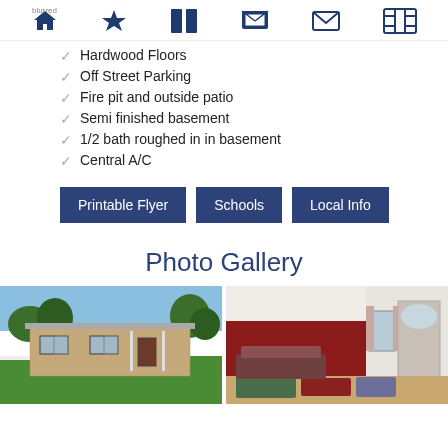Navigation bar with home, favorites, listings, photos, contact, map icons
Hardwood Floors
Off Street Parking
Fire pit and outside patio
Semi finished basement
1/2 bath roughed in in basement
Central A/C
Printable Flyer | Schools | Local Info
Photo Gallery
[Figure (photo): Exterior photo of a single-story brick ranch house with green lawn and trees]
[Figure (photo): Interior photo of a living room with red accent wall, hardwood floors, and patterned rug]